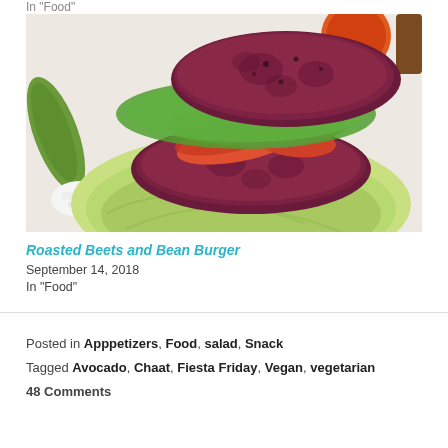In "Food"
[Figure (photo): A beet and bean burger served on an iceberg lettuce wrap with tomato slices, red onion, and green sauce, on a white plate with feta cheese and green herb sauce on the side.]
Roasted Beets and Bean Burger
September 14, 2018
In "Food"
Posted in Apppetizers, Food, salad, Snack
Tagged Avocado, Chaat, Fiesta Friday, Vegan, vegetarian
48 Comments